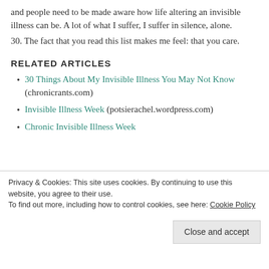and people need to be made aware how life altering an invisible illness can be. A lot of what I suffer, I suffer in silence, alone.
30. The fact that you read this list makes me feel: that you care.
RELATED ARTICLES
30 Things About My Invisible Illness You May Not Know (chronicrants.com)
Invisible Illness Week (potsierachel.wordpress.com)
Chronic Invisible Illness Week
Privacy & Cookies: This site uses cookies. By continuing to use this website, you agree to their use.
To find out more, including how to control cookies, see here: Cookie Policy
Close and accept